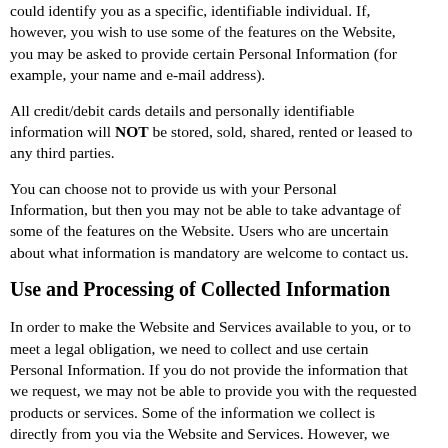could identify you as a specific, identifiable individual. If, however, you wish to use some of the features on the Website, you may be asked to provide certain Personal Information (for example, your name and e-mail address).
All credit/debit cards details and personally identifiable information will NOT be stored, sold, shared, rented or leased to any third parties.
You can choose not to provide us with your Personal Information, but then you may not be able to take advantage of some of the features on the Website. Users who are uncertain about what information is mandatory are welcome to contact us.
Use and Processing of Collected Information
In order to make the Website and Services available to you, or to meet a legal obligation, we need to collect and use certain Personal Information. If you do not provide the information that we request, we may not be able to provide you with the requested products or services. Some of the information we collect is directly from you via the Website and Services. However, we may also collect Personal Information about you from other sources such as social media, emails, etc. Any of the information